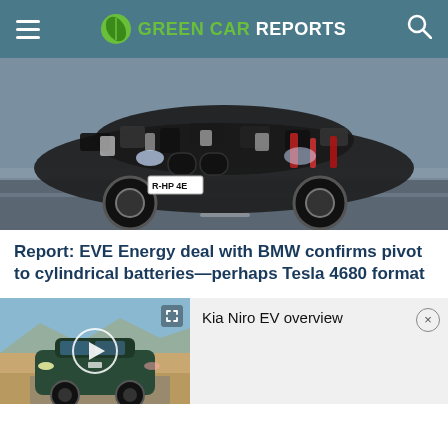GREEN CAR REPORTS
[Figure (photo): Camouflage-wrapped BMW prototype car driving on a road, photographed from the front-left angle. The car has a wide kidney grille and test camo wrap with black, white, and red patterns.]
Report: EVE Energy deal with BMW confirms pivot to cylindrical batteries—perhaps Tesla 4680 format
[Figure (screenshot): Video thumbnail showing a dark green Kia Niro EV driving in a desert setting, with a circular play button overlay and an expand icon in the top right corner.]
Kia Niro EV overview